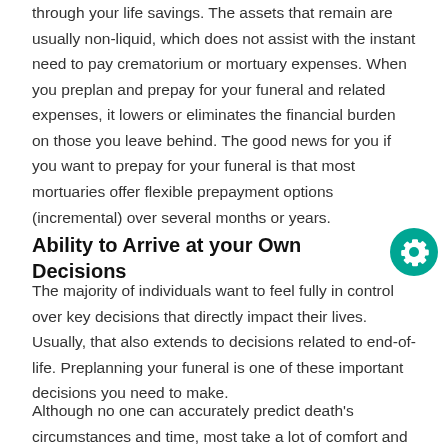through your life savings. The assets that remain are usually non-liquid, which does not assist with the instant need to pay crematorium or mortuary expenses. When you preplan and prepay for your funeral and related expenses, it lowers or eliminates the financial burden on those you leave behind. The good news for you if you want to prepay for your funeral is that most mortuaries offer flexible prepayment options (incremental) over several months or years.
Ability to Arrive at your Own Decisions
The majority of individuals want to feel fully in control over key decisions that directly impact their lives. Usually, that also extends to decisions related to end-of-life. Preplanning your funeral is one of these important decisions you need to make.
Although no one can accurately predict death's circumstances and time, most take a lot of comfort and reassurance in